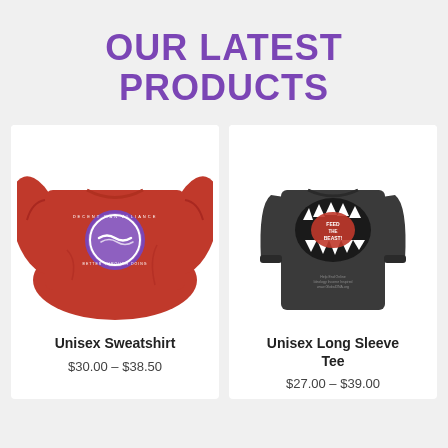OUR LATEST PRODUCTS
[Figure (photo): Red unisex sweatshirt with circular purple logo on chest, displayed flat on white background]
Unisex Sweatshirt
$30.00 – $38.50
[Figure (photo): Dark gray unisex long sleeve tee with monster mouth and 'FEED THE BEAST' graphic on chest, displayed flat on white background]
Unisex Long Sleeve Tee
$27.00 – $39.00